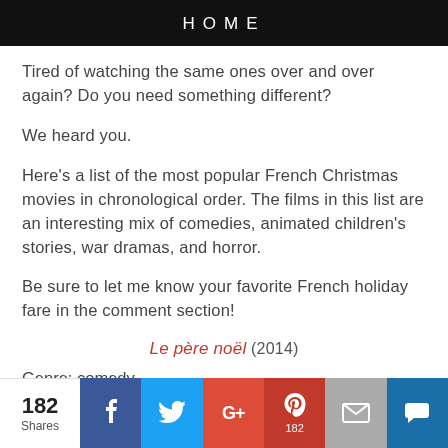HOME
Tired of watching the same ones over and over again? Do you need something different?
We heard you.
Here's a list of the most popular French Christmas movies in chronological order. The films in this list are an interesting mix of comedies, animated children's stories, war dramas, and horror.
Be sure to let me know your favorite French holiday fare in the comment section!
Le père noël (2014)
Genre: comedy
A young boy believes that a burglar disguised as Santa Claus is the real deal. The kid follows him and